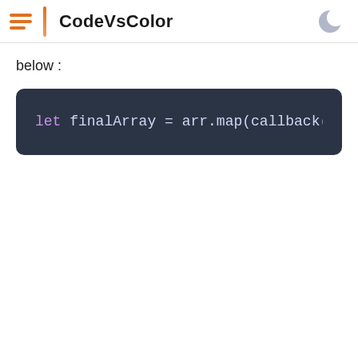CodeVsColor
below :
[Figure (screenshot): Code snippet showing: let finalArray = arr.map(callback( curren]